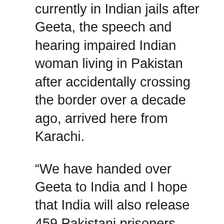currently in Indian jails after Geeta, the speech and hearing impaired Indian woman living in Pakistan after accidentally crossing the border over a decade ago, arrived here from Karachi.
“We have handed over Geeta to India and I hope that India will also release 459 Pakistani prisoners. Pakistan High Commissioner Abdul Basit will host a reception to Geeta in the evening today and we will be there,” the Media head of Pakistan High Commission, Manzoor Memon, told the media here.
Geeta arrived in New Delhi on Monday and was welcomed by the Indian officials, Pakistan diplomats and her kin to much